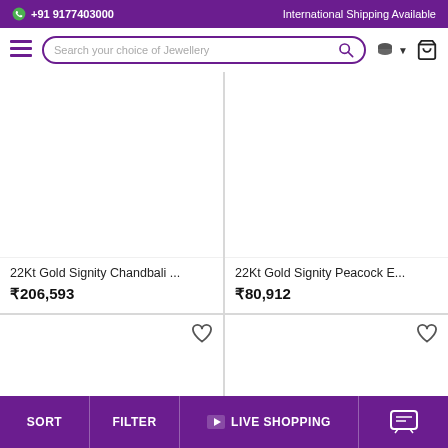+91 9177403000   International Shipping Available
Search your choice of Jewellery
22Kt Gold Signity Chandbali ... ₹206,593
22Kt Gold Signity Peacock E... ₹80,912
[Figure (screenshot): Empty product image area for bottom left product card]
[Figure (screenshot): Empty product image area for bottom right product card]
SORT   FILTER   LIVE SHOPPING   [chat icon]